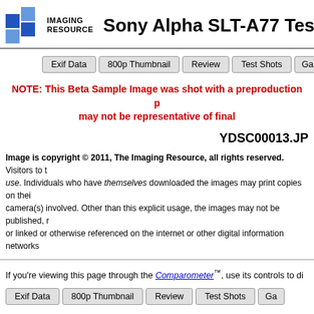Imaging Resource — Sony Alpha SLT-A77 Test I…
Exif Data | 800p Thumbnail | Review | Test Shots | Ga…
NOTE: This Beta Sample Image was shot with a preproduction p… may not be representative of final…
YDSC00013.JP…
Image is copyright © 2011, The Imaging Resource, all rights reserved. Visitors to t… use. Individuals who have themselves downloaded the images may print copies on thei… camera(s) involved. Other than this explicit usage, the images may not be published, r… or linked or otherwise referenced on the internet or other digital information networks…
Exif Data | 800p Thumbnail | Review | Test Shots | Ga…
If you're viewing this page through the Comparometer™, use its controls to di…
THE place for Digital Cami…